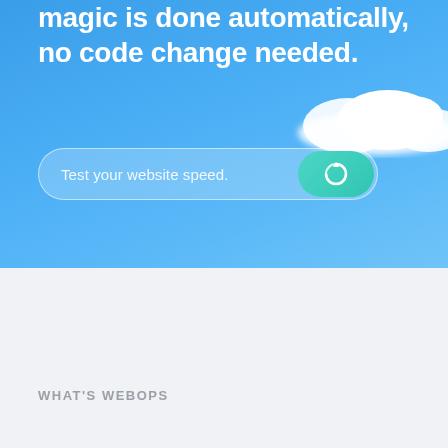magic is done automatically, no code change needed.
[Figure (screenshot): Search bar input field with text 'Test your website speed.' and a teal circular button with a refresh/power icon on a blue sky background]
[Figure (illustration): White fluffy clouds on the right side of the blue sky section]
WHAT'S WEBOPS